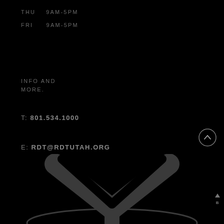THU   9AM-5PM
FRI   9AM-5PM
INFO AND MORE.
T: 801.534.1000
E: RDT@RDTUTAH.ORG
[Figure (logo): RDT logo — stylized X or Y shape with arc below, dark gray on black background]